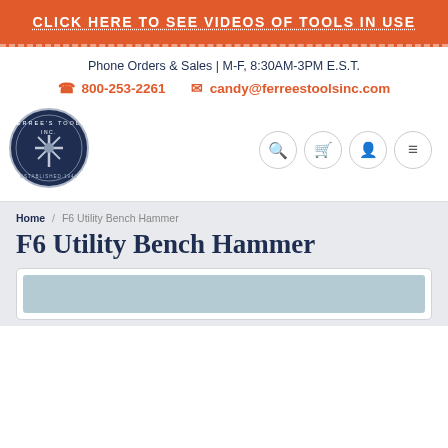CLICK HERE TO SEE VIDEOS OF TOOLS IN USE
Phone Orders & Sales | M-F, 8:30AM-3PM E.S.T.
800-253-2261   candy@ferreestoolsinc.com
[Figure (logo): Ferree's Tools Inc. circular logo with tools, established 1946, dark navy background]
Breadcrumb: Home / F6 Utility Bench Hammer
F6 Utility Bench Hammer
[Figure (photo): Product image area with light blue background, partially visible]